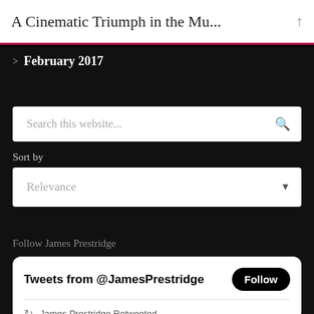A Cinematic Triumph in the Mu...
> February 2017
Search this website...
Sort by
Relevance
Follow James Prestridge
Tweets from @JamesPrestridge  Follow
James Prestridge Retweeted